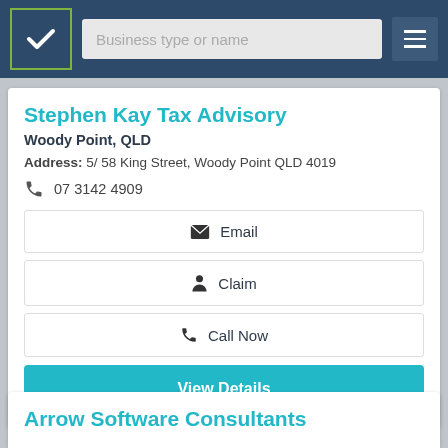[Figure (screenshot): Website header bar with logo (green checkbox icon on dark blue), search input field labeled 'Business type or name', and hamburger menu button]
Stephen Kay Tax Advisory
Woody Point, QLD
Address: 5/ 58 King Street, Woody Point QLD 4019
07 3142 4909
Email
Claim
Call Now
View Details
Arrow Software Consultants